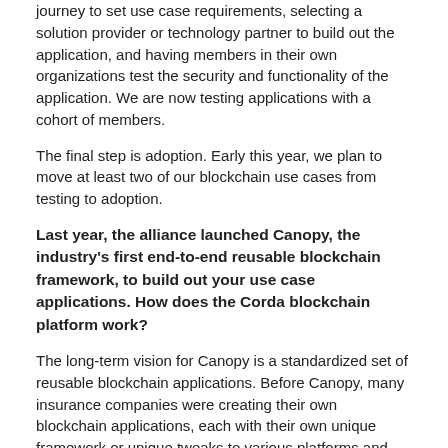journey to set use case requirements, selecting a solution provider or technology partner to build out the application, and having members in their own organizations test the security and functionality of the application. We are now testing applications with a cohort of members.
The final step is adoption. Early this year, we plan to move at least two of our blockchain use cases from testing to adoption.
Last year, the alliance launched Canopy, the industry's first end-to-end reusable blockchain framework, to build out your use case applications. How does the Corda blockchain platform work?
The long-term vision for Canopy is a standardized set of reusable blockchain applications. Before Canopy, many insurance companies were creating their own blockchain applications, each with their own unique framework or unique tweaks to various platforms and were operating in a silo. The industry wasn't capitalizing on network effects or scale with this approach.
Along comes Canopy, which can provide the backbone for all of these blockchain apps to be built upon.
This year, the alliance plans to build a large variety of applications